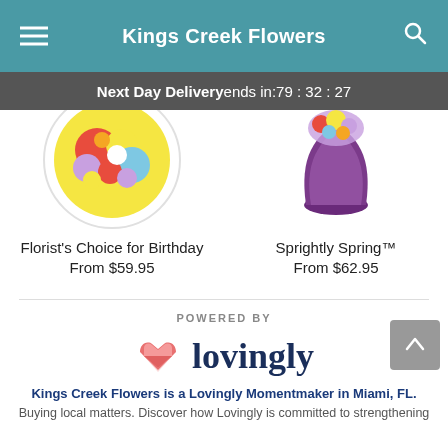Kings Creek Flowers
Next Day Delivery ends in: 79:32:27
[Figure (photo): Circular arranged colorful flower bouquet (left product image)]
Florist's Choice for Birthday
From $59.95
[Figure (photo): Purple vase with flowers (right product image)]
Sprightly Spring™
From $62.95
POWERED BY
[Figure (logo): Lovingly logo with pink heart icon and dark blue text]
Kings Creek Flowers is a Lovingly Momentmaker in Miami, FL.
Buying local matters. Discover how Lovingly is committed to strengthening